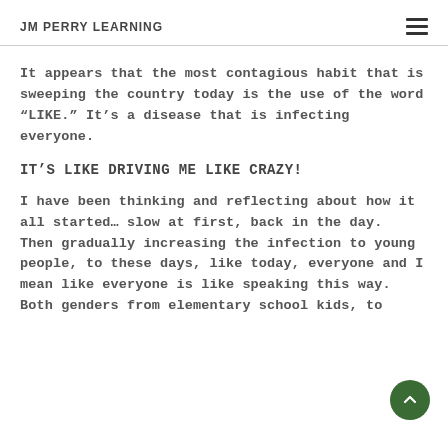JM PERRY LEARNING
It appears that the most contagious habit that is sweeping the country today is the use of the word “LIKE.” It’s a disease that is infecting everyone.
IT’S LIKE DRIVING ME LIKE CRAZY!
I have been thinking and reflecting about how it all started… slow at first, back in the day.  Then gradually increasing the infection to young people, to these days, like today, everyone and I mean like everyone is like speaking this way.  Both genders from elementary school kids, to